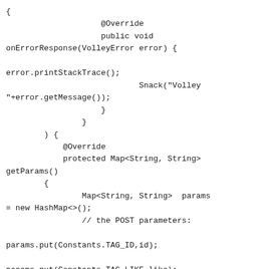{
                    @Override
                    public void
onErrorResponse(VolleyError error) {

error.printStackTrace();
                            Snack("Volley
"+error.getMessage());
                    }
                }
        ) {
            @Override
            protected Map<String, String>
getParams()
        {
                Map<String, String>  params
= new HashMap<>();
                // the POST parameters:

params.put(Constants.TAG_ID,id);

params.put(Constants.TAG_LIKE,like);
                return params;
            }
        };